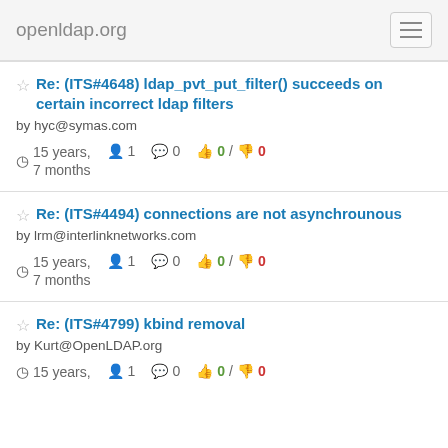openldap.org
Re: (ITS#4648) ldap_pvt_put_filter() succeeds on certain incorrect ldap filters
by hyc@symas.com
15 years, 7 months  1  0  0 / 0
Re: (ITS#4494) connections are not asynchrounous
by lrm@interlinknetworks.com
15 years, 7 months  1  0  0 / 0
Re: (ITS#4799) kbind removal
by Kurt@OpenLDAP.org
15 years,  1  0  0 / 0